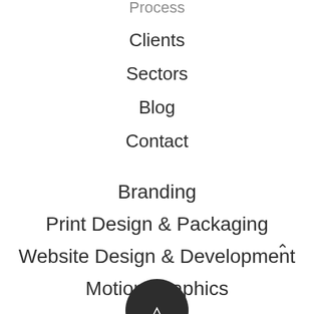Process
Clients
Sectors
Blog
Contact
Branding
Print Design & Packaging
Website Design & Development
Motion Graphics
Privacy Policy
[Figure (logo): Dark circular logo at the bottom center of the page, partially cut off]